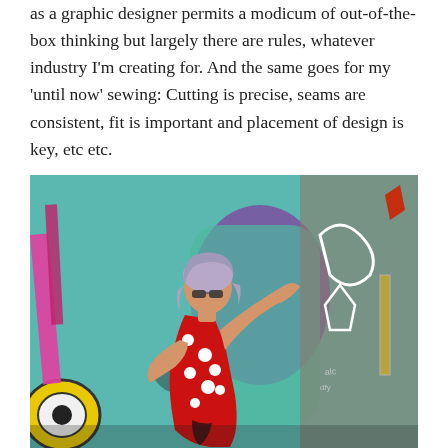as a graphic designer permits a modicum of out-of-the-box thinking but largely there are rules, whatever industry I'm creating for. And the same goes for my 'until now' sewing: Cutting is precise, seams are consistent, fit is important and placement of design is key, etc etc.
[Figure (photo): A woman with silver/lavender hair wearing a red polka dot dress with black accents, leaning against a colorful graffiti-covered wall. The graffiti features purple, teal, yellow, pink, and red designs. The woman is wearing sunglasses and has one arm raised touching the wall.]